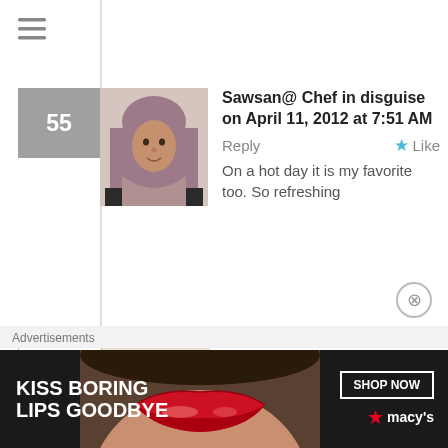[Figure (screenshot): Hamburger menu icon (three horizontal lines) at top left]
55 — Sawsan@ Chef in disguise on April 11, 2012 at 7:51 AM | Reply | Like
On a hot day it is my favorite too. So refreshing
56 — Good Cooks on April 10, 2012 at 4:18 PM | Reply | Like
Thanks Sonson for all these mouthwatering strauberrry recipes, all yummy....
Your sauce is very wonderful, for
Advertisements
[Figure (photo): Advertisement banner: KISS BORING LIPS GOODBYE — SHOP NOW — macys star logo, with woman's red lips]